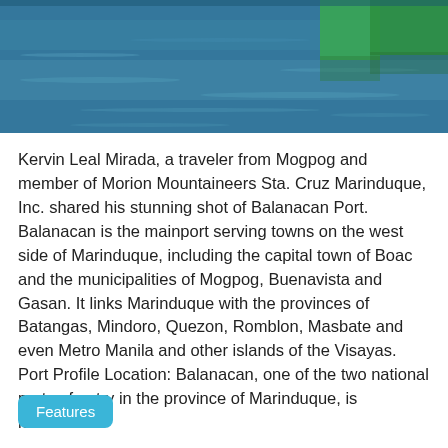[Figure (photo): Photo of Balanacan Port showing blue-green water with gentle ripples and a green structure visible in the upper right corner]
Kervin Leal Mirada, a traveler from Mogpog and member of Morion Mountaineers Sta. Cruz Marinduque, Inc. shared his stunning shot of Balanacan Port. Balanacan is the mainport serving towns on the west side of Marinduque, including the capital town of Boac and the municipalities of Mogpog, Buenavista and Gasan. It links Marinduque with the provinces of Batangas, Mindoro, Quezon, Romblon, Masbate and even Metro Manila and other islands of the Visayas. Port Profile Location: Balanacan, one of the two national ports of entry in the province of Marinduque, is located...
Features